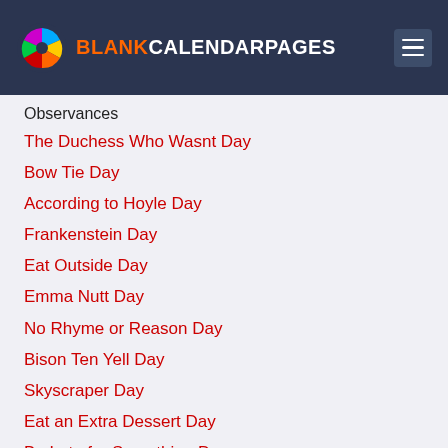BLANKCALENDARPAGES
Observances
The Duchess Who Wasnt Day
Bow Tie Day
According to Hoyle Day
Frankenstein Day
Eat Outside Day
Emma Nutt Day
No Rhyme or Reason Day
Bison Ten Yell Day
Skyscraper Day
Eat an Extra Dessert Day
Be Late for Something Day
Cheese Pizza Day
Fight Procrastination Day
Read a Book Day
Salami Day